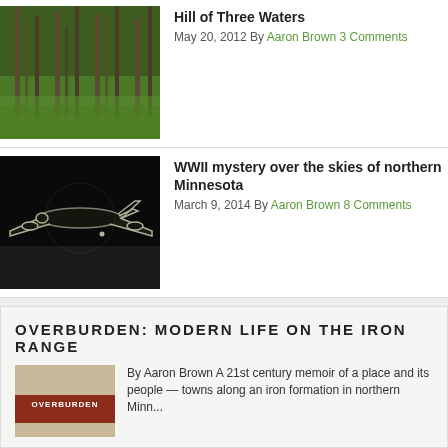Hill of Three Waters
May 20, 2012 By Aaron Brown 3 Comments
[Figure (photo): Forest with tall trees and green undergrowth]
WWII mystery over the skies of northern Minnesota
March 9, 2014 By Aaron Brown 8 Comments
[Figure (photo): Dark night vision or black and white image of a WWII bomber aircraft]
OVERBURDEN: MODERN LIFE ON THE IRON RANGE
[Figure (photo): Book cover for Overburden with brown/rust colored text on dark red band]
By Aaron Brown A 21st century memoir of a place and its people — towns along an iron formation in northern Minn...